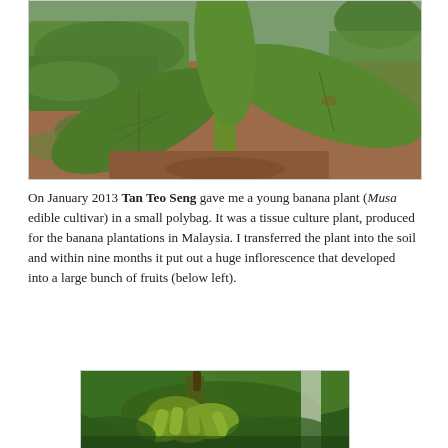[Figure (photo): Young banana plant (Musa edible cultivar) growing in soil outdoors, with large green leaves visible against a background of reddish-brown soil and green ground cover/moss.]
On January 2013 Tan Teo Seng gave me a young banana plant (Musa edible cultivar) in a small polybag. It was a tissue culture plant, produced for the banana plantations in Malaysia. I transferred the plant into the soil and within nine months it put out a huge inflorescence that developed into a large bunch of fruits (below left).
[Figure (photo): Banana plant with a large bunch of green bananas hanging from it, surrounded by large green leaves.]